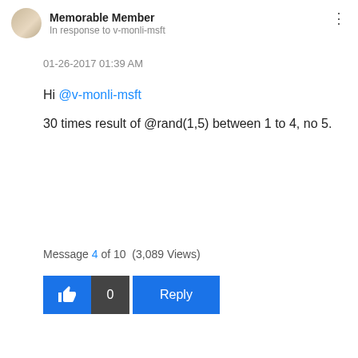Memorable Member
In response to v-monli-msft
01-26-2017 01:39 AM
Hi @v-monli-msft
30 times result of @rand(1,5) between 1 to 4, no 5.
Message 4 of 10  (3,089 Views)
[Figure (other): Like button with thumbs up icon showing 0 likes, followed by a Reply button. Both are blue with the like count shown in dark gray.]